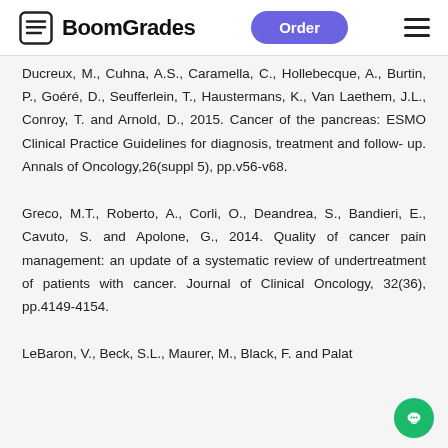BoomGrades | Order
Ducreux, M., Cuhna, A.S., Caramella, C., Hollebecque, A., Burtin, P., Goéré, D., Seufferlein, T., Haustermans, K., Van Laethem, J.L., Conroy, T. and Arnold, D., 2015. Cancer of the pancreas: ESMO Clinical Practice Guidelines for diagnosis, treatment and follow-up. Annals of Oncology,26(suppl 5), pp.v56-v68.
Greco, M.T., Roberto, A., Corli, O., Deandrea, S., Bandieri, E., Cavuto, S. and Apolone, G., 2014. Quality of cancer pain management: an update of a systematic review of undertreatment of patients with cancer. Journal of Clinical Oncology, 32(36), pp.4149-4154.
LeBaron, V., Beck, S.L., Maurer, M., Black, F. and Palat...